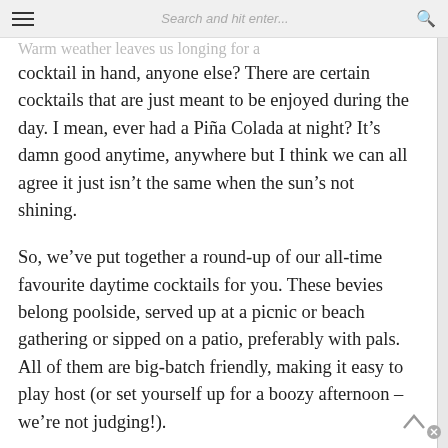≡   Search and hit enter...   🔍
Warm weather leaves us longing for a cocktail in hand, anyone else? There are certain cocktails that are just meant to be enjoyed during the day. I mean, ever had a Piña Colada at night? It's damn good anytime, anywhere but I think we can all agree it just isn't the same when the sun's not shining.
So, we've put together a round-up of our all-time favourite daytime cocktails for you. These bevies belong poolside, served up at a picnic or beach gathering or sipped on a patio, preferably with pals. All of them are big-batch friendly, making it easy to play host (or set yourself up for a boozy afternoon – we're not judging!).